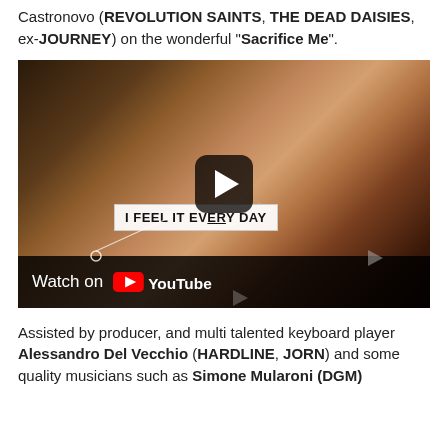Castronovo (REVOLUTION SAINTS, THE DEAD DAISIES, ex-JOURNEY) on the wonderful "Sacrifice Me".
[Figure (screenshot): YouTube video thumbnail/player for Issa - 'Sacrifice Me' (duet with Deen Castronovo). Shows a man singing into a microphone in a recording studio. A lyric annotation reads 'I FEEL IT EVERY DAY'. Bottom bar shows 'Watch on YouTube'.]
Assisted by producer, and multi talented keyboard player Alessandro Del Vecchio (HARDLINE, JORN) and some quality musicians such as Simone Mularoni (DGM)